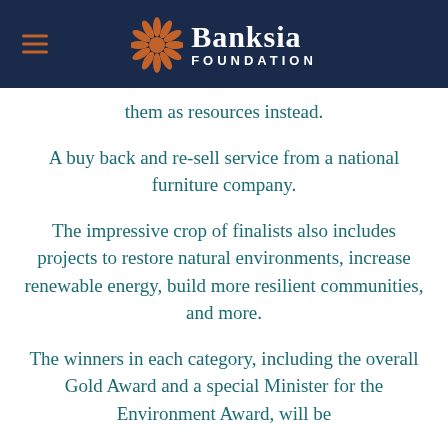Banksia Foundation
them as resources instead.
A buy back and re-sell service from a national furniture company.
The impressive crop of finalists also includes projects to restore natural environments, increase renewable energy, build more resilient communities, and more.
The winners in each category, including the overall Gold Award and a special Minister for the Environment Award, will be